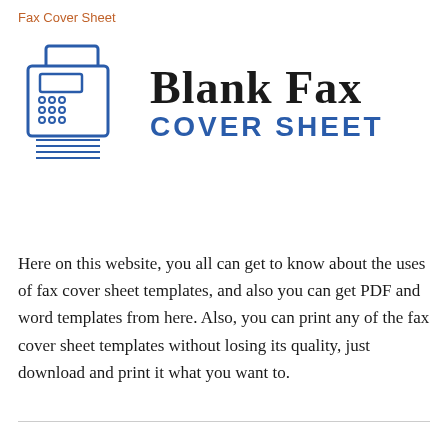Fax Cover Sheet
[Figure (logo): Blank Fax Cover Sheet logo with fax machine icon on the left and bold text 'BLANK FAX' in black and 'COVER SHEET' in blue on the right]
Here on this website, you all can get to know about the uses of fax cover sheet templates, and also you can get PDF and word templates from here. Also, you can print any of the fax cover sheet templates without losing its quality, just download and print it what you want to.